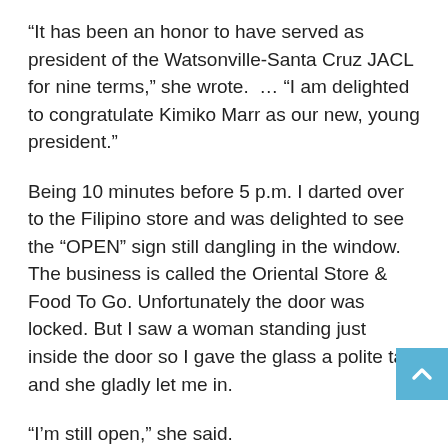“It has been an honor to have served as president of the Watsonville-Santa Cruz JACL for nine terms,” she wrote.  … “I am delighted to congratulate Kimiko Marr as our new, young president.”
Being 10 minutes before 5 p.m. I darted over to the Filipino store and was delighted to see the “OPEN” sign still dangling in the window. The business is called the Oriental Store & Food To Go. Unfortunately the door was locked. But I saw a woman standing just inside the door so I gave the glass a polite tap and she gladly let me in.
“I’m still open,” she said.
When I told her what I wanted, she walked right to a large bottle of Palm vinegar on the shelf — $1.59. Unbelievable, both in that they had it (we looked at several stores) and that it